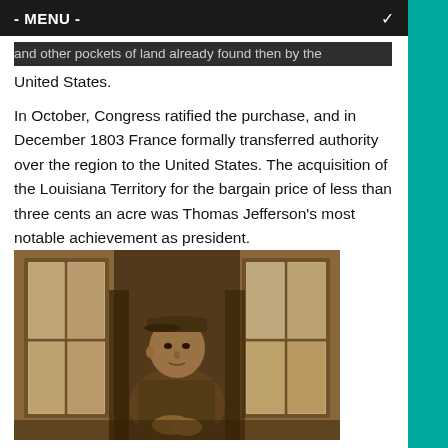- MENU -
and other pockets of land already found then by the United States.
In October, Congress ratified the purchase, and in December 1803 France formally transferred authority over the region to the United States. The acquisition of the Louisiana Territory for the bargain price of less than three cents an acre was Thomas Jefferson's most notable achievement as president.
[Figure (photo): Sepia-toned historical photograph of a man wearing a cap, seated or standing near windows, looking toward the camera with arms resting in front of him.]